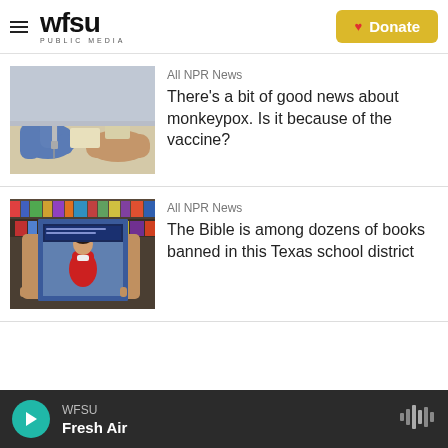WFSU PUBLIC MEDIA | Donate
[Figure (photo): Gloved hands administering a vaccine injection]
All NPR News
There's a bit of good news about monkeypox. Is it because of the vaccine?
[Figure (photo): Person holding a book in a bookstore with colorful books in background]
All NPR News
The Bible is among dozens of books banned in this Texas school district
WFSU | Fresh Air